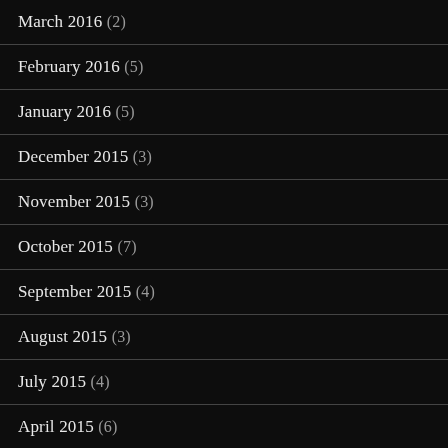March 2016 (2)
February 2016 (5)
January 2016 (5)
December 2015 (3)
November 2015 (3)
October 2015 (7)
September 2015 (4)
August 2015 (3)
July 2015 (4)
April 2015 (6)
March 2015 (7)
February 2015 (8)